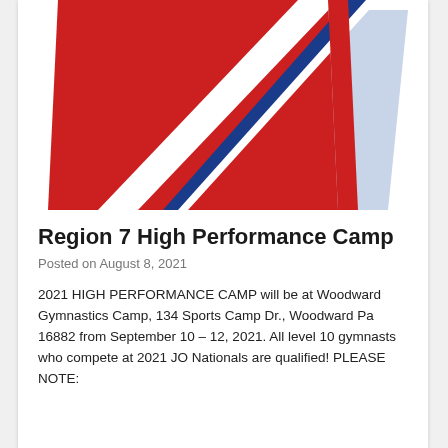[Figure (illustration): Abstract red, white, and blue gymnastics/sports logo with stylized figure on red background and light blue parallelogram shape]
Region 7 High Performance Camp
Posted on August 8, 2021
2021 HIGH PERFORMANCE CAMP will be at Woodward Gymnastics Camp, 134 Sports Camp Dr., Woodward Pa 16882 from September 10 – 12, 2021. All level 10 gymnasts who compete at 2021 JO Nationals are qualified! PLEASE NOTE: